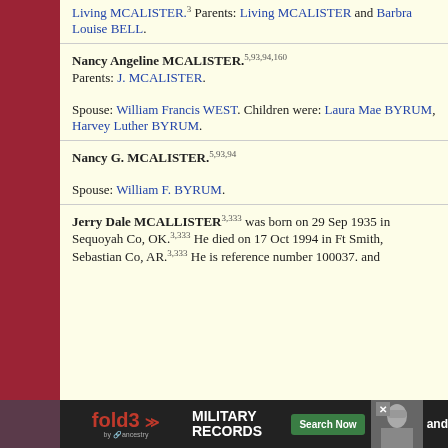Living MCALISTER.3 Parents: Living MCALISTER and Barbra Louise BELL.
Nancy Angeline MCALISTER.5,93,94,160 Parents: J. MCALISTER.

Spouse: William Francis WEST. Children were: Laura Mae BYRUM, Harvey Luther BYRUM.
Nancy G. MCALISTER.5,93,94

Spouse: William F. BYRUM.
Jerry Dale MCALLISTER3,333 was born on 29 Sep 1935 in Sequoyah Co, OK.3,333 He died on 17 Oct 1994 in Ft Smith, Sebastian Co, AR.3,333 He is reference number 100037. and
[Figure (advertisement): fold3 by Ancestry military records advertisement banner with Search Now button]